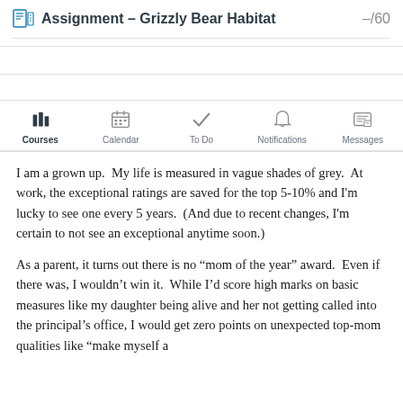Assignment - Grizzly Bear Habitat -/60
[Figure (screenshot): Canvas LMS navigation bar with icons for Courses (active, bold), Calendar, To Do, Notifications, Messages]
I am a grown up.  My life is measured in vague shades of grey.  At work, the exceptional ratings are saved for the top 5-10% and I'm lucky to see one every 5 years.  (And due to recent changes, I'm certain to not see an exceptional anytime soon.)
As a parent, it turns out there is no “mom of the year” award.  Even if there was, I wouldn’t win it.  While I’d score high marks on basic measures like my daughter being alive and her not getting called into the principal’s office, I would get zero points on unexpected top-mom qualities like “make myself a